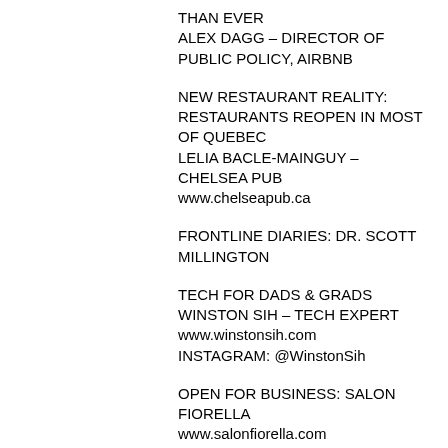THAN EVER
ALEX DAGG – DIRECTOR OF PUBLIC POLICY, AIRBNB
NEW RESTAURANT REALITY: RESTAURANTS REOPEN IN MOST OF QUEBEC
LELIA BACLE-MAINGUY – CHELSEA PUB
www.chelseapub.ca
FRONTLINE DIARIES: DR. SCOTT MILLINGTON
TECH FOR DADS & GRADS
WINSTON SIH – TECH EXPERT
www.winstonsih.com
INSTAGRAM: @WinstonSih
OPEN FOR BUSINESS: SALON FIORELLA
www.salonfiorella.com
FIORELLA DI NARDO-NOCITA - CO-OWNER, SALON FIORELLA
INSTAGRAM: @SalonFiorella